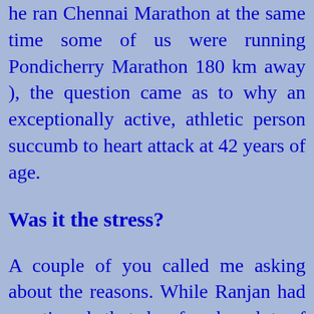he ran Chennai Marathon at the same time some of us were running Pondicherry Marathon 180 km away ), the question came as to why an exceptionally active, athletic person succumb to heart attack at 42 years of age.
Was it the stress?
A couple of you called me asking about the reasons. While Ranjan had mentioned that he faced a lot of stress, that is a common element in most of our lives. We used to think that by being fit, one can conquer the